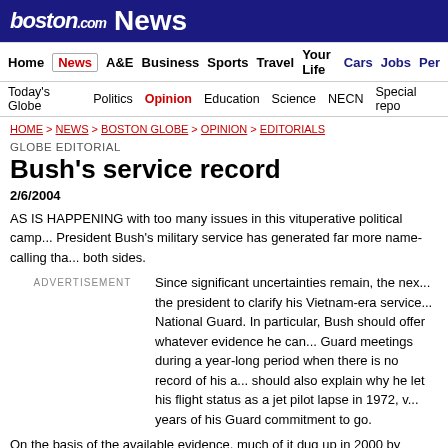boston.com News
Home | News | A&E | Business | Sports | Travel | Your Life | Cars | Jobs | Per...
Today's Globe | Politics | Opinion | Education | Science | NECN | Special repo...
HOME > NEWS > BOSTON GLOBE > OPINION > EDITORIALS
GLOBE EDITORIAL
Bush's service record
2/6/2004
AS IS HAPPENING with too many issues in this vituperative political camp... President Bush's military service has generated far more name-calling tha... both sides.
ADVERTISEMENT
Since significant uncertainties remain, the nex... the president to clarify his Vietnam-era service... National Guard. In particular, Bush should offer whatever evidence he can... Guard meetings during a year-long period when there is no record of his a... should also explain why he let his flight status as a jet pilot lapse in 1972, v... years of his Guard commitment to go.
On the basis of the available evidence, much of it dug up in 2000 by Globe... Robinson, it seems clear that Bush, like many thousands of other young A... system to his best advantage. Because his family had more clout than mos... exceptionally successful.